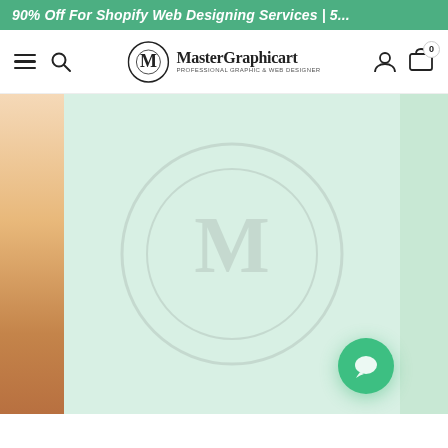90% Off For Shopify Web Designing Services | 5...
[Figure (screenshot): MasterGraphicart website navigation bar with hamburger menu, search icon, logo (MasterGraphicart - Professional Graphic & Web Designer), user account icon, and shopping cart icon with badge showing 0]
[Figure (photo): Product display area: left strip shows orange/peach product packaging, main center area is mint green with a faint watermark logo, right strip is light green. A green circular chat bubble button is in the bottom right area.]